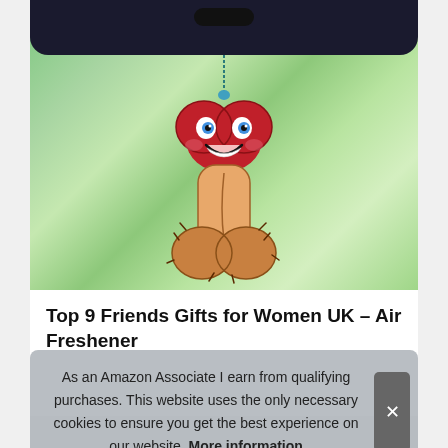[Figure (screenshot): Screenshot of a mobile phone showing a product page for 'Top 9 Friends Gifts for Women UK - Air Freshener'. The image shows a cartoon penis-shaped air freshener with a smiling face, hanging by a string against a blurred green background. Below the image is a cookie consent banner reading 'As an Amazon Associate I earn from qualifying purchases. This website uses the only necessary cookies to ensure you get the best experience on our website. More information' with an X close button.]
Top 9 Friends Gifts for Women UK – Air Freshener
As an Amazon Associate I earn from qualifying purchases. This website uses the only necessary cookies to ensure you get the best experience on our website. More information